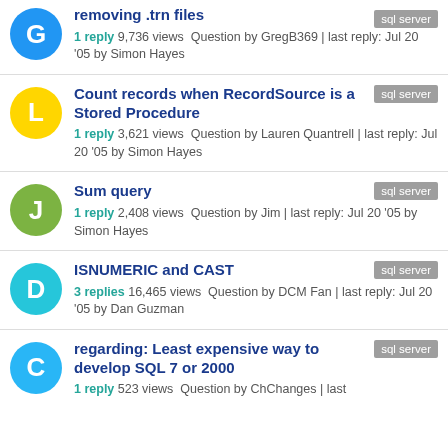removing .trn files | 1 reply 9,736 views Question by GregB369 | last reply: Jul 20 '05 by Simon Hayes | tag: sql server
Count records when RecordSource is a Stored Procedure | 1 reply 3,621 views Question by Lauren Quantrell | last reply: Jul 20 '05 by Simon Hayes | tag: sql server
Sum query | 1 reply 2,408 views Question by Jim | last reply: Jul 20 '05 by Simon Hayes | tag: sql server
ISNUMERIC and CAST | 3 replies 16,465 views Question by DCM Fan | last reply: Jul 20 '05 by Dan Guzman | tag: sql server
regarding: Least expensive way to develop SQL 7 or 2000 | 1 reply 523 views Question by ChChanges | last reply: ... | tag: sql server